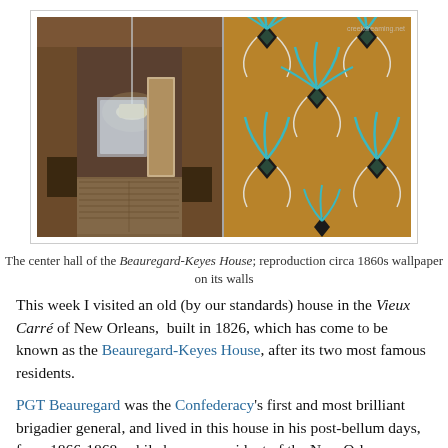[Figure (photo): Two-panel photo: left panel shows the center hall corridor of the Beauregard-Keyes House with dark walls, pendant light, and patterned floor; right panel shows a close-up of the circa 1860s reproduction wallpaper featuring a teal and white floral/palm motif on a warm brown background with black diamond accents.]
The center hall of the Beauregard-Keyes House; reproduction circa 1860s wallpaper on its walls
This week I visited an old (by our standards) house in the Vieux Carré of New Orleans,  built in 1826, which has come to be known as the Beauregard-Keyes House, after its two most famous residents.
PGT Beauregard was the Confederacy's first and most brilliant brigadier general, and lived in this house in his post-bellum days, from 1866-1868, while he was president of the New Orleans, Jackson and Great Northern Railroad. I was also told he was a